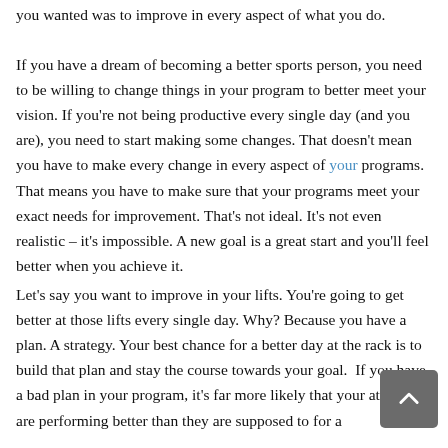you wanted was to improve in every aspect of what you do.
If you have a dream of becoming a better sports person, you need to be willing to change things in your program to better meet your vision. If you're not being productive every single day (and you are), you need to start making some changes. That doesn't mean you have to make every change in every aspect of your programs. That means you have to make sure that your programs meet your exact needs for improvement. That's not ideal. It's not even realistic – it's impossible. A new goal is a great start and you'll feel better when you achieve it.
Let's say you want to improve in your lifts. You're going to get better at those lifts every single day. Why? Because you have a plan. A strategy. Your best chance for a better day at the rack is to build that plan and stay the course towards your goal. If you have a bad plan in your program, it's far more likely that your athletes are performing better than they are supposed to for a given point of your program. And when the course of following a